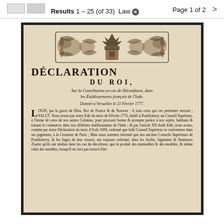Results 1 - 25 (of 33)  Law   Page 1 of 2  >
[Figure (photo): Scanned historical French legal document page showing decorative header with crown and floral motifs, titled DÉCLARATION DU ROI, Sur la Contribution en cas de Déconfiture, dans les Établissements françois de l'Inde. Donnée à Versailles le 21 Février 1777. Followed by body text in old French beginning with LOUIS, par la grace de Dieu, Roi de France & de Navarre...]
DÉCLARATION DU ROI,
Sur la Contribution en cas de Déconfiture, dans les Établissements françois de l'Inde.
Donnée à Versailles le 21 Février 1777.
LOUIS, par la grace de Dieu, Roi de France & de Navarre : A tous ceux qui ces présentes verront ; SALUT. Nous avons par notre Edit du mois de Février 1776, établi à Pondicherry un Conseil Supérieur, à l'instar de ceux de nos autres Colonies, pour procurer bonne & prompte justice à nos sujets, habitans & faisant le commerce dans nos différens établissemens de l'Inde ; & par l'article XII dudit Edit, nous avons, comme par notre Déclaration du mois d'Août 1684, ordonné que ledit Conseil Supérieur se conformera dans ses jugemens, à la Coutume de Paris ; Mais nous sommes informé que nos anciens Conseils Supérieurs de Pondicherry, & les Juges de leur ressort, ont toujours ordonné, dans les Arrêts, Jugemens & Sentences d'entre qu'ils ont résibus dans les cas de décofiture, que le produit des immeubles & des meubles, & même celui des meubles, lorsqu'il ne s'est pas trouvé d'im-